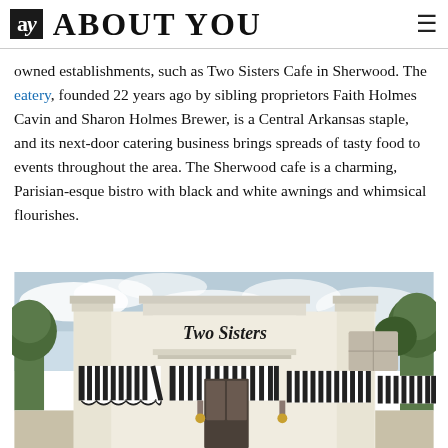ay ABOUT YOU
owned establishments, such as Two Sisters Cafe in Sherwood. The eatery, founded 22 years ago by sibling proprietors Faith Holmes Cavin and Sharon Holmes Brewer, is a Central Arkansas staple, and its next-door catering business brings spreads of tasty food to events throughout the area. The Sherwood cafe is a charming, Parisian-esque bistro with black and white awnings and whimsical flourishes.
[Figure (photo): Exterior photograph of Two Sisters Cafe showing a white building with black and white striped awnings, ornamental trim, and the Two Sisters sign above the entrance, with trees in the background and a partly cloudy sky.]